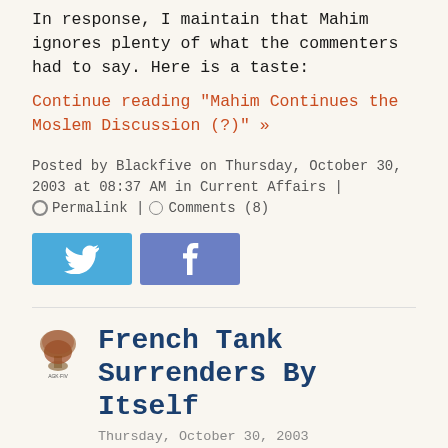In response, I maintain that Mahim ignores plenty of what the commenters had to say. Here is a taste:
Continue reading "Mahim Continues the Moslem Discussion (?)" »
Posted by Blackfive on Thursday, October 30, 2003 at 08:37 AM in Current Affairs | Permalink | Comments (8)
[Figure (other): Twitter and Facebook social share buttons]
[Figure (logo): Blackfive blog logo icon (mushroom cloud illustration)]
French Tank Surrenders By Itself
Thursday, October 30, 2003